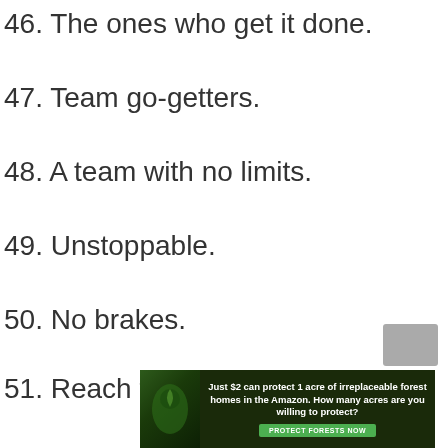46. The ones who get it done.
47. Team go-getters.
48. A team with no limits.
49. Unstoppable.
50. No brakes.
51. Reach for the stars!
52. The best in the business!
53. Number one sales team!
[Figure (infographic): Advertisement banner: Just $2 can protect 1 acre of irreplaceable forest homes in the Amazon. How many acres are you willing to protect? PROTECT FORESTS NOW]